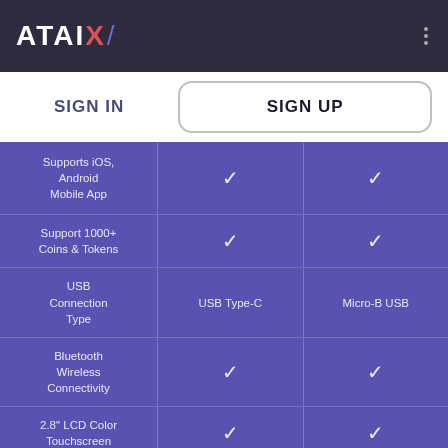ATAIX
SIGN IN | SIGN UP
| Feature | SIGN IN | SIGN UP |
| --- | --- | --- |
| Supports iOS, Android Mobile App | ✓ | ✓ |
| Support 1000+ Coins & Tokens | ✓ | ✓ |
| USB Connection Type | USB Type-C | Micro-B USB |
| Bluetooth Wireless Connectivity | ✓ | ✓ |
| 2.8" LCD Color Touchscreen | ✓ | ✓ |
| Rechargeable Lithium Polymer Battery | ✓ | ✓ |